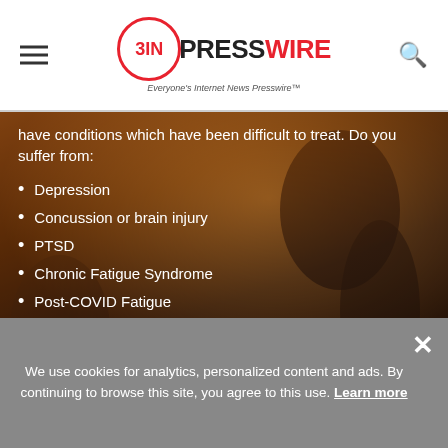EINPresswire — Everyone's Internet News Presswire
have conditions which have been difficult to treat. Do you suffer from:
Depression
Concussion or brain injury
PTSD
Chronic Fatigue Syndrome
Post-COVID Fatigue
Alzheimer's disease
Parkinson's disease
ADHD
We use cookies for analytics, personalized content and ads. By continuing to browse this site, you agree to this use. Learn more